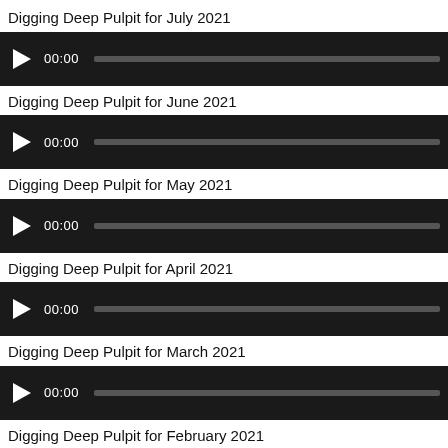Digging Deep Pulpit for July 2021
[Figure (other): Audio player widget with play button, 00:00 timestamp, and progress bar]
Digging Deep Pulpit for June 2021
[Figure (other): Audio player widget with play button, 00:00 timestamp, and progress bar]
Digging Deep Pulpit for May 2021
[Figure (other): Audio player widget with play button, 00:00 timestamp, and progress bar]
Digging Deep Pulpit for April 2021
[Figure (other): Audio player widget with play button, 00:00 timestamp, and progress bar]
Digging Deep Pulpit for March 2021
[Figure (other): Audio player widget with play button, 00:00 timestamp, and progress bar]
Digging Deep Pulpit for February 2021
[Figure (other): Audio player widget with play button, 00:00 timestamp, and progress bar (partially visible)]